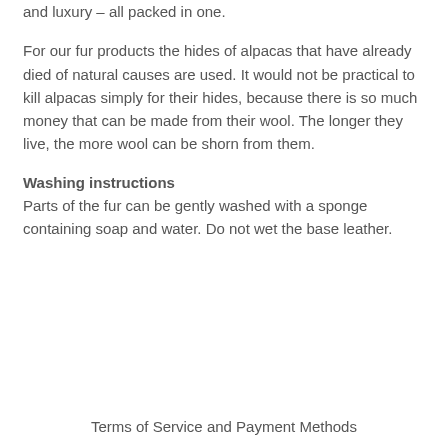and luxury – all packed in one.
For our fur products the hides of alpacas that have already died of natural causes are used. It would not be practical to kill alpacas simply for their hides, because there is so much money that can be made from their wool. The longer they live, the more wool can be shorn from them.
Washing instructions
Parts of the fur can be gently washed with a sponge containing soap and water. Do not wet the base leather.
Terms of Service and Payment Methods